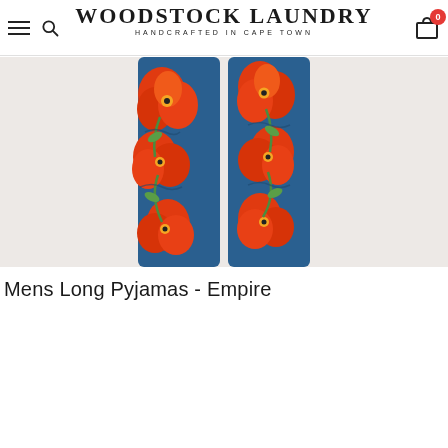Woodstock Laundry — Handcrafted in Cape Town (navigation bar with hamburger menu, search, logo, and cart icon showing 0)
[Figure (photo): Product photo of mens floral pyjama pants (Empire print) showing legs from waist to ankle, blue background with large red/orange poppy flowers, on a light pinkish-grey background.]
Mens Long Pyjamas - Empire